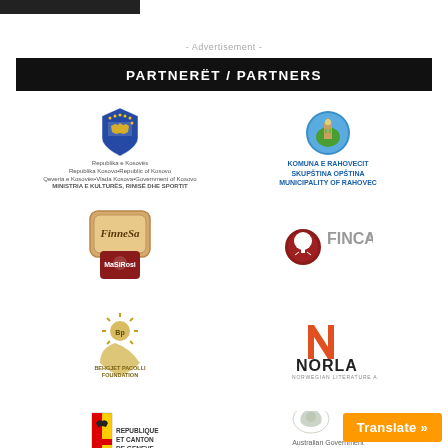- Advertisement -
PARTNERËT / PARTNERS
[Figure (logo): Kosovo Republic government logo with shield and ministry text]
[Figure (logo): Komuna e Rahovecit Skupština Opština Municipality of Rahovec logo with circular emblem]
[Figure (logo): FINNESA and MaSiRosi logos]
[Figure (logo): FINCA logo with red tree emblem]
[Figure (logo): Behgjet Pacolli Foundation logo with sun and hand]
[Figure (logo): NORLA Norwegian Literature Abroad logo]
[Figure (logo): Republique et Canton de Geneve logo with shield]
[Figure (logo): Australian Government - Catalyst Australian Arts and Culture logo]
Translate »